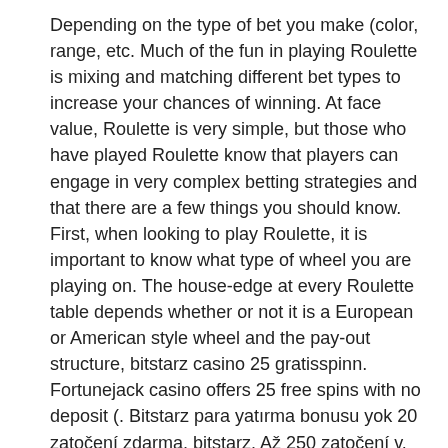Depending on the type of bet you make (color, range, etc. Much of the fun in playing Roulette is mixing and matching different bet types to increase your chances of winning. At face value, Roulette is very simple, but those who have played Roulette know that players can engage in very complex betting strategies and that there are a few things you should know. First, when looking to play Roulette, it is important to know what type of wheel you are playing on. The house-edge at every Roulette table depends whether or not it is a European or American style wheel and the pay-out structure, bitstarz casino 25 gratisspinn.
Fortuneja­ck casino offers 25 free spins with no deposit (. Bitstarz para yatırma bonusu yok 20 zatočení zdarma, bitstarz. Až 250 zatočení v. Bitstarz casino offers new players a 20 free spins no deposit bonus on. 06 z března 2020: hodnocení 4. Bitstarz: 20